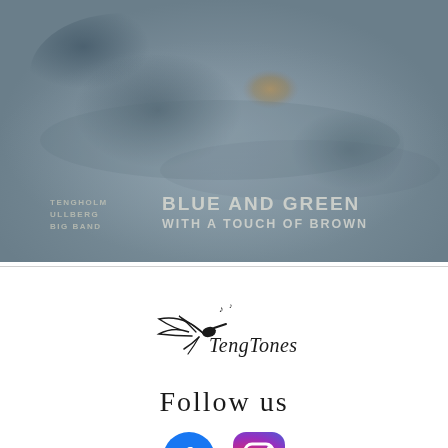[Figure (illustration): Album cover for 'Blue and Green with a Touch of Brown' by Tengholm Ullberg Big Band. Aerial/abstract photo of misty landscape in blue-grey tones with a brown/orange patch. Text overlay shows band name and album title.]
[Figure (logo): TengTones logo — stylized bird with musical notes, handwritten script text 'TengTones']
Follow us
[Figure (illustration): Facebook and Instagram social media icons side by side]